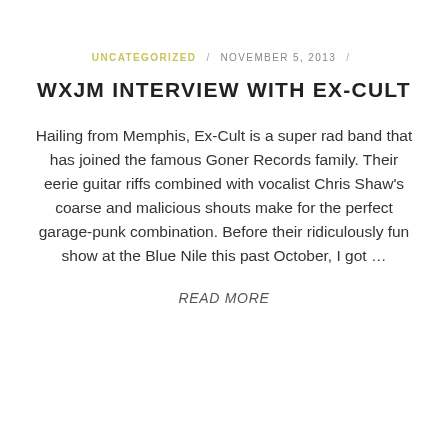UNCATEGORIZED / NOVEMBER 5, 2013 /
WXJM INTERVIEW WITH EX-CULT
Hailing from Memphis, Ex-Cult is a super rad band that has joined the famous Goner Records family. Their eerie guitar riffs combined with vocalist Chris Shaw’s coarse and malicious shouts make for the perfect garage-punk combination. Before their ridiculously fun show at the Blue Nile this past October, I got …
READ MORE
1